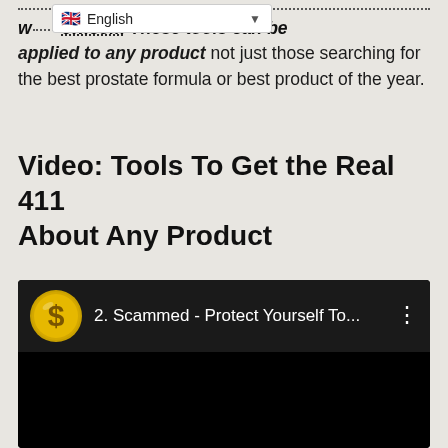w[...].com. These tools can be applied to any product not just those searching for the best prostate formula or best product of the year.
Video:  Tools To Get the Real 411 About Any Product
[Figure (screenshot): Embedded YouTube video player (dark/black) showing title '2. Scammed - Protect Yourself To...' with a gold dollar sign circle icon on the left and a three-dot menu on the right.]